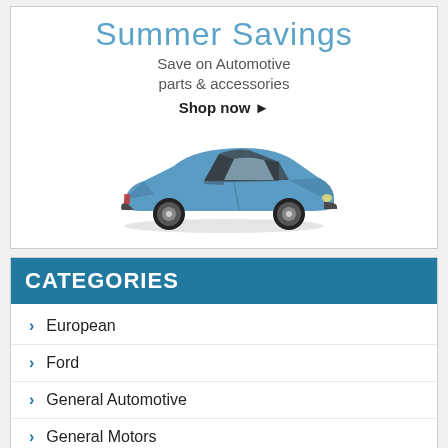[Figure (illustration): Summer Savings automotive advertisement banner with blue Ford Mustang convertible car illustration, text 'Summer Savings', 'Save on Automotive parts & accessories', 'Shop now ▶']
CATEGORIES
European
Ford
General Automotive
General Motors
Hot Rods & Customs